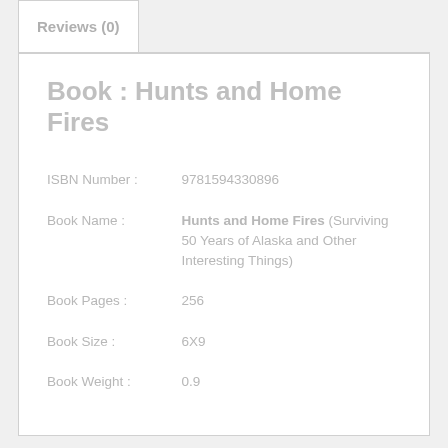Reviews (0)
Book : Hunts and Home Fires
| ISBN Number : | 9781594330896 |
| Book Name : | Hunts and Home Fires (Surviving 50 Years of Alaska and Other Interesting Things) |
| Book Pages : | 256 |
| Book Size : | 6X9 |
| Book Weight : | 0.9 |